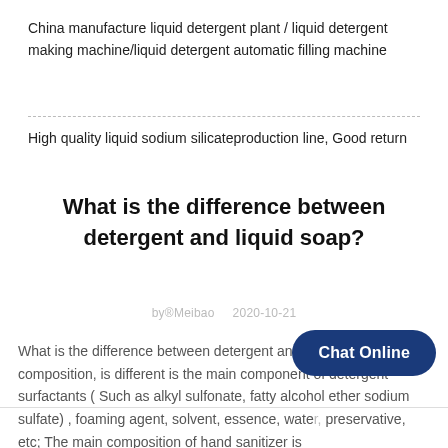China manufacture liquid detergent plant / liquid detergent making machine/liquid detergent automatic filling machine
High quality liquid sodium silicateproduction line, Good return
What is the difference between detergent and liquid soap?
by®Meibao   2020-10-21
What is the difference between detergent and liquid soap? A composition, is different is the main component of detergent surfactants ( Such as alkyl sulfonate, fatty alcohol ether sodium sulfate) , foaming agent, solvent, essence, water, preservative, etc; The main composition of hand sanitizer is